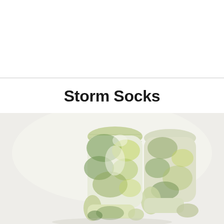Storm Socks
[Figure (photo): A pair of tie-dye crew socks with green, yellow, and white blotchy pattern displayed upright showing the shaft and foot of the socks against a light grey background.]